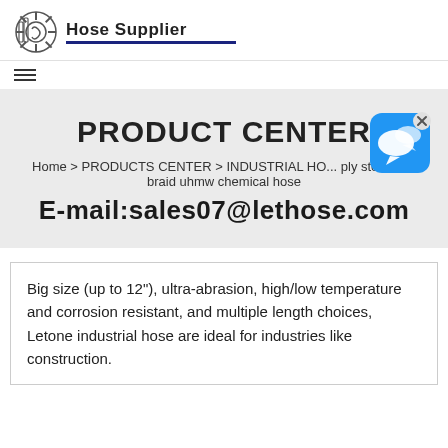[Figure (logo): Hose Supplier logo with gear/hose icon and bold text 'Hose Supplier' with dark blue underline]
PRODUCT CENTER
Home > PRODUCTS CENTER > INDUSTRIAL HO... ply steel wire braid uhmw chemical hose
E-mail:sales07@lethose.com
[Figure (illustration): Blue chat bubble widget with white speech bubble icon and X close button]
Big size (up to 12"), ultra-abrasion, high/low temperature and corrosion resistant, and multiple length choices, Letone industrial hose are ideal for industries like construction.